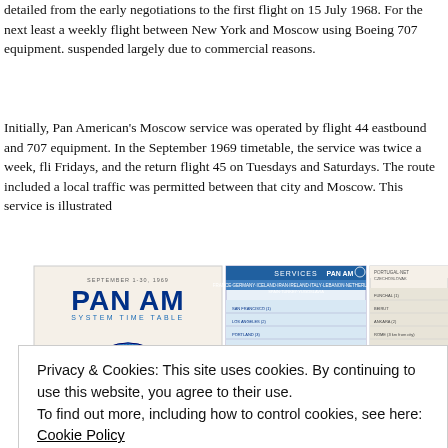detailed from the early negotiations to the first flight on 15 July 1968. For the next least a weekly flight between New York and Moscow using Boeing 707 equipment. suspended largely due to commercial reasons.
Initially, Pan American's Moscow service was operated by flight 44 eastbound and 707 equipment. In the September 1969 timetable, the service was twice a week, fli Fridays, and the return flight 45 on Tuesdays and Saturdays. The route included a local traffic was permitted between that city and Moscow. This service is illustrated
[Figure (photo): Pan Am System Time Table booklet cover (September 1969) alongside two pages of the Pan Am timetable showing routes including France, Germany, Iceland, Iran, Ireland, Italy, Lebanon, Netherlands, Spain, Turkey, Yugoslavia, and Portugal routes with flight schedules in a blue and white grid format.]
Privacy & Cookies: This site uses cookies. By continuing to use this website, you agree to their use.
To find out more, including how to control cookies, see here: Cookie Policy
Close and accept